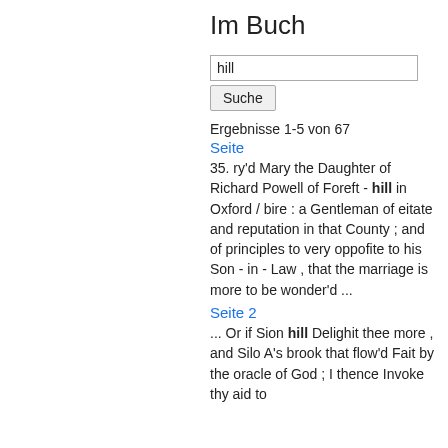Im Buch
hill
Suche
Ergebnisse 1-5 von 67
Seite
35. ry'd Mary the Daughter of Richard Powell of Foreft - hill in Oxford / bire : a Gentleman of eitate and reputation in that County ; and of principles to very oppofite to his Son - in - Law , that the marriage is more to be wonder'd ...
Seite 2
... Or if Sion hill Delighit thee more , and Silo A's brook that flow'd Fait by the oracle of God ; I thence Invoke thy aid to